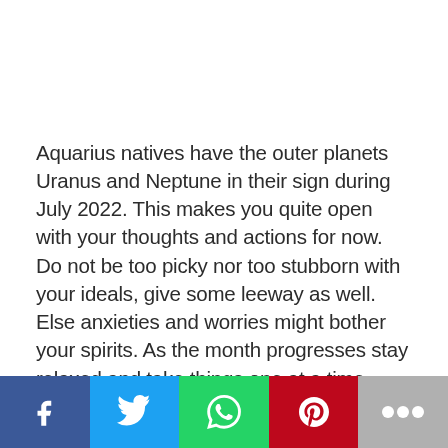Aquarius natives have the outer planets Uranus and Neptune in their sign during July 2022. This makes you quite open with your thoughts and actions for now. Do not be too picky nor too stubborn with your ideals, give some leeway as well. Else anxieties and worries might bother your spirits. As the month progresses stay relaxed and take things one at a time.
Do not bite more than you can chew for now.
The priority for you in the first days of the month will be the family and you will devote all your attention to it. Just in your case it will not be too diffi...
[Figure (other): Social sharing bar with Facebook, Twitter, WhatsApp, Pinterest, and More buttons]